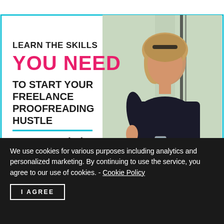[Figure (infographic): Advertisement banner with teal border. Left side shows bold text: 'LEARN THE SKILLS YOU NEED TO START YOUR FREELANCE PROOFREADING HUSTLE' with a teal divider and 'FREE workshop!' in pink/black italic. Right side shows a photo of a young woman with blonde hair sitting at a table, looking down, with a glass of water visible.]
We use cookies for various purposes including analytics and personalized marketing. By continuing to use the service, you agree to our use of cookies. - Cookie Policy
I AGREE